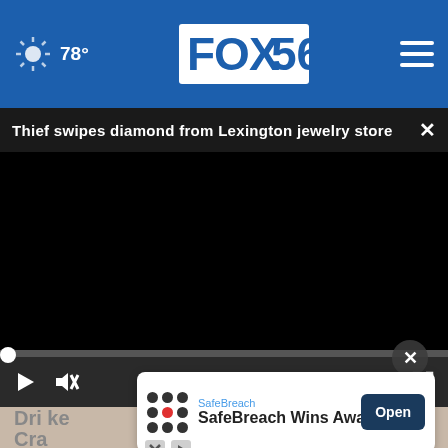78° FOX56
Thief swipes diamond from Lexington jewelry store
[Figure (screenshot): Black video player with progress bar at top showing 00:00, play button, mute button, caption button, and fullscreen button on dark controls bar]
Drin... Cra...
Health
[Figure (infographic): SafeBreach advertisement banner with grid of dots logo, SafeBreach brand name, 'SafeBreach Wins Award' text, and Open button]